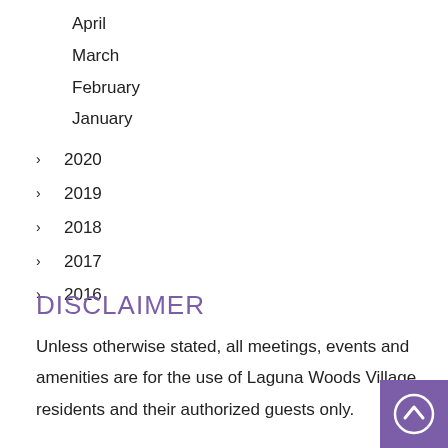April
March
February
January
> 2020
> 2019
> 2018
> 2017
> 2016
DISCLAIMER
Unless otherwise stated, all meetings, events and amenities are for the use of Laguna Woods Village residents and their authorized guests only.